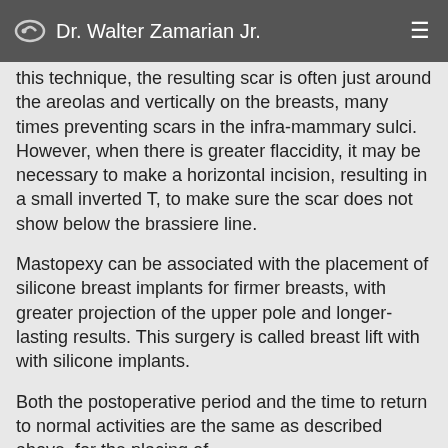Dr. Walter Zamarian Jr.
this technique, the resulting scar is often just around the areolas and vertically on the breasts, many times preventing scars in the infra-mammary sulci. However, when there is greater flaccidity, it may be necessary to make a horizontal incision, resulting in a small inverted T, to make sure the scar does not show below the brassiere line.
Mastopexy can be associated with the placement of silicone breast implants for firmer breasts, with greater projection of the upper pole and longer-lasting results. This surgery is called breast lift with with silicone implants.
Both the postoperative period and the time to return to normal activities are the same as described above, for the placing of